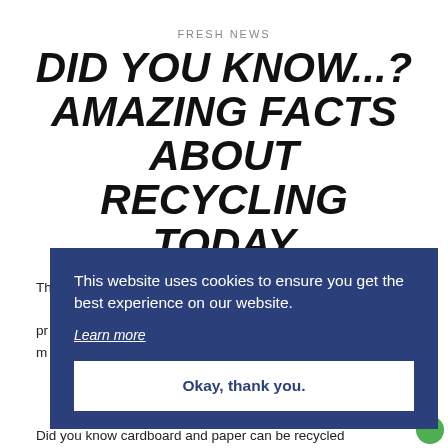FRESH NEWS
DID YOU KNOW...? AMAZING FACTS ABOUT RECYCLING TODAY
Th... M... pr... m...
[Figure (screenshot): Cookie consent banner with dark blue background. Text: 'This website uses cookies to ensure you get the best experience on our website.' with a 'Learn more' link and an 'Okay, thank you.' button.]
Did you know cardboard and paper can be recycled